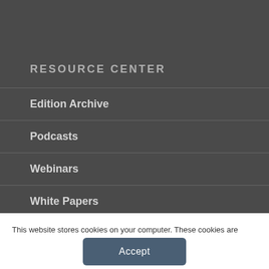RESOURCE CENTER
Edition Archive
Podcasts
Webinars
White Papers
Videos
This website stores cookies on your computer. These cookies are used to improve your website and provide more personalized services to you, both on this website and through other media. To find out more about the cookies we use, see our Privacy Policy.
Accept